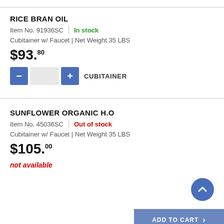RICE BRAN OIL
Item No. 91936SC | In stock
Cubitainer w/ Faucet | Net Weight 35 LBS
$93.80
[Figure (other): Quantity selector with minus and plus buttons and a text input, followed by label CUBITAINER]
SUNFLOWER ORGANIC H.O
Item No. 45036SC | Out of stock
Cubitainer w/ Faucet | Net Weight 35 LBS
$105.00
not available
[Figure (other): Back to top button (chevron up in a blue circle) and Add to Cart button bar]